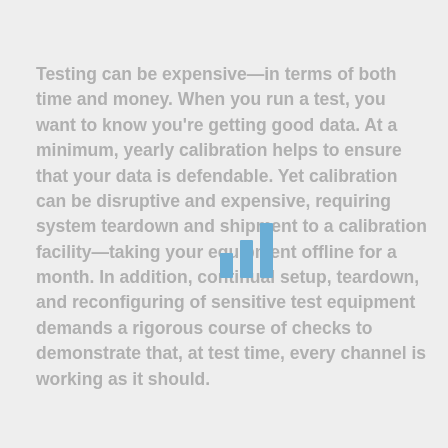Testing can be expensive—in terms of both time and money. When you run a test, you want to know you're getting good data. At a minimum, yearly calibration helps to ensure that your data is defendable. Yet calibration can be disruptive and expensive, requiring system teardown and shipment to a calibration facility—taking your equipment offline for a month. In addition, continual setup, teardown, and reconfiguring of sensitive test equipment demands a rigorous course of checks to demonstrate that, at test time, every channel is working as it should.
[Figure (bar-chart): Small decorative bar chart overlay on text, three blue bars of varying heights]